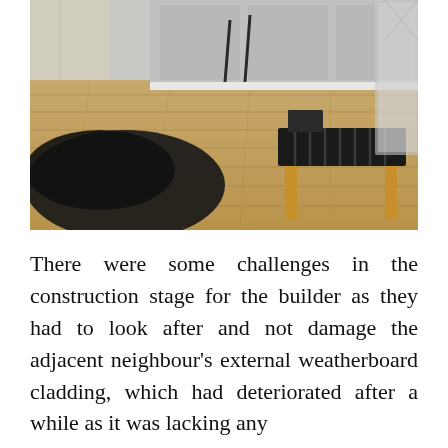[Figure (photo): Interior room photo showing wide-plank light oak hardwood flooring, a black animal-hide rug on the left, a wooden bench with black woven leather straps on the right, grey cabinetry in the background, and a mirror or glass frame leaning against the wall.]
There were some challenges in the construction stage for the builder as they had to look after and not damage the adjacent neighbour's external weatherboard cladding, which had deteriorated after a while as it was lacking any